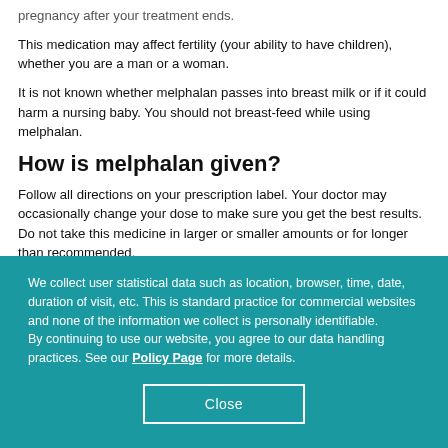pregnancy after your treatment ends.
This medication may affect fertility (your ability to have children), whether you are a man or a woman.
It is not known whether melphalan passes into breast milk or if it could harm a nursing baby. You should not breast-feed while using melphalan.
How is melphalan given?
Follow all directions on your prescription label. Your doctor may occasionally change your dose to make sure you get the best results. Do not take this medicine in larger or smaller amounts or for longer than recommended.
Oral melphalan is a tablet you take by mouth. Injectable melphalan is injected into a vein through an IV. A healthcare provider will give you this injection.
Your doctor will perform blood tests to make sure you do not have conditions that would prevent you from safely using melphalan.
Melphalan can lower blood cells that help your body fight infections and help
We collect user statistical data such as location, browser, time, date, duration of visit, etc. This is standard practice for commercial websites and none of the information we collect is personally identifiable.
By continuing to use our website, you agree to our data handling practices. See our Policy Page for more details.